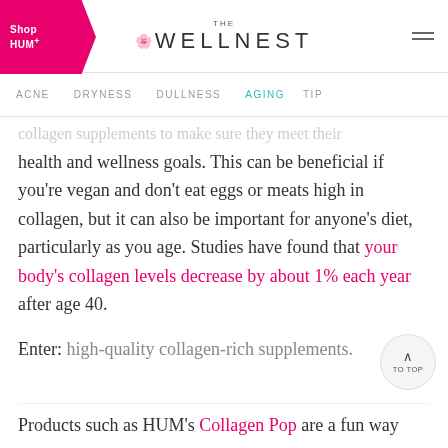THE WELLNEST
ACNE   DRYNESS   DULLNESS   AGING   TIP
collagen supplements to make sure they meet their health and wellness goals. This can be beneficial if you’re vegan and don’t eat eggs or meats high in collagen, but it can also be important for anyone’s diet, particularly as you age. Studies have found that your body’s collagen levels decrease by about 1% each year after age 40.
Enter: high-quality collagen-rich supplements.
Products such as HUM’s Collagen Pop are a fun way